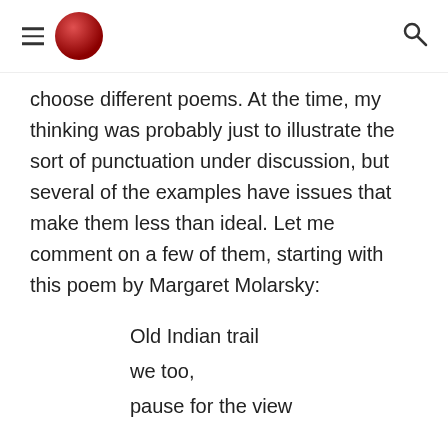[Navigation header with hamburger menu, logo, and search icon]
choose different poems. At the time, my thinking was probably just to illustrate the sort of punctuation under discussion, but several of the examples have issues that make them less than ideal. Let me comment on a few of them, starting with this poem by Margaret Molarsky:
Old Indian trail
we too,
pause for the view
What's problematic is that the poem has its real